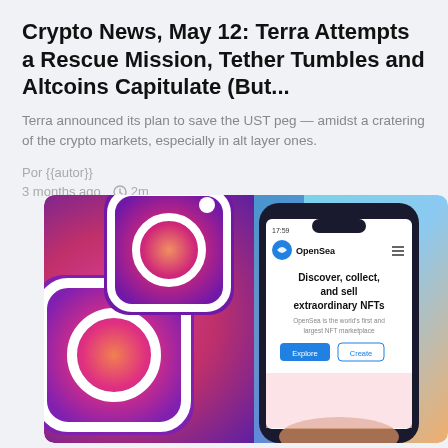Crypto News, May 12: Terra Attempts a Rescue Mission, Tether Tumbles and Altcoins Capitulate (But...
Terra announced its plan to save the UST peg — amidst a cratering of the crypto markets, especially in alt layer ones.
Por {{autor}}
3 months ago  2m
[Figure (photo): A smartphone displaying the OpenSea NFT marketplace website (showing 'Discover, collect, and sell extraordinary NFTs') held in hand, with Instagram app icons visible in the background.]